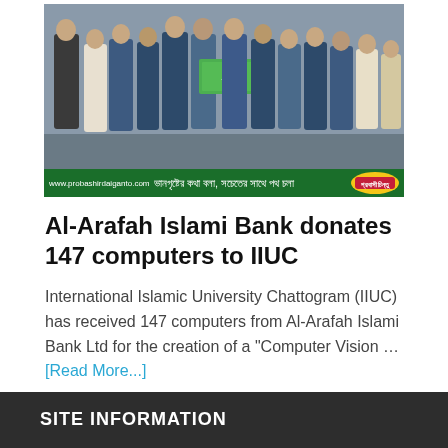[Figure (photo): Group photo of men in suits standing together at an event, with a Bangladeshi newspaper banner at the bottom showing the website www.probashirdaiganto.com and Bengali text]
Al-Arafah Islami Bank donates 147 computers to IIUC
International Islamic University Chattogram (IIUC) has received 147 computers from Al-Arafah Islami Bank Ltd for the creation of a "Computer Vision … [Read More...]
SITE INFORMATION